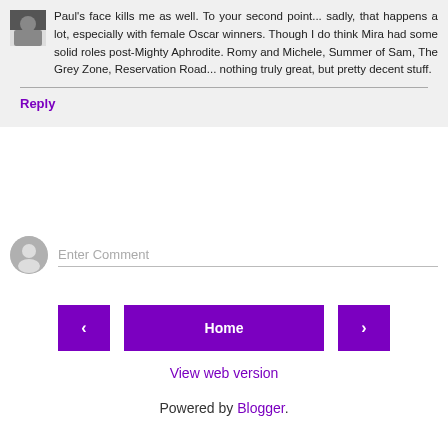Paul's face kills me as well. To your second point... sadly, that happens a lot, especially with female Oscar winners. Though I do think Mira had some solid roles post-Mighty Aphrodite. Romy and Michele, Summer of Sam, The Grey Zone, Reservation Road... nothing truly great, but pretty decent stuff.
Reply
Enter Comment
Home
View web version
Powered by Blogger.